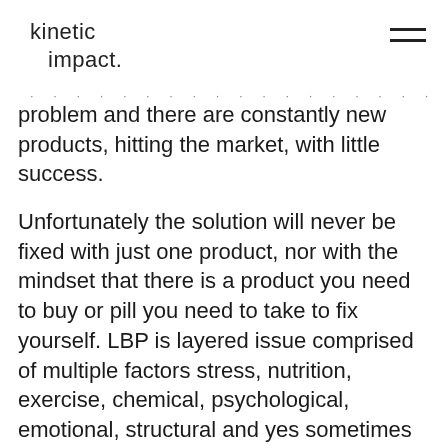kinetic impact.
problem and there are constantly new products, hitting the market, with little success.
Unfortunately the solution will never be fixed with just one product, nor with the mindset that there is a product you need to buy or pill you need to take to fix yourself. LBP is layered issue comprised of multiple factors stress, nutrition, exercise, chemical, psychological, emotional, structural and yes sometimes even postural factors may contribute to LBP.  We are always looking for a quick fix to this epidemic, a fast, easy solution that will fix everything in one quick shot. Enter the sit to stand desk.